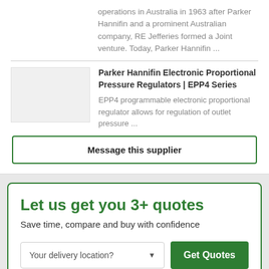operations in Australia in 1963 after Parker Hannifin and a prominent Australian company, RE Jefferies formed a Joint venture. Today, Parker Hannifin ...
Parker Hannifin Electronic Proportional Pressure Regulators | EPP4 Series
EPP4 programmable electronic proportional regulator allows for regulation of outlet pressure ...
Message this supplier
Let us get you 3+ quotes
Save time, compare and buy with confidence
Your delivery location?
Get Quotes